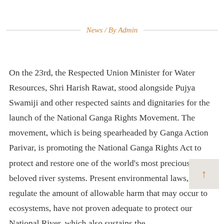News / By Admin
On the 23rd, the Respected Union Minister for Water Resources, Shri Harish Rawat, stood alongside Pujya Swamiji and other respected saints and dignitaries for the launch of the National Ganga Rights Movement. The movement, which is being spearheaded by Ganga Action Parivar, is promoting the National Ganga Rights Act to protect and restore one of the world's most precious and beloved river systems. Present environmental laws, which regulate the amount of allowable harm that may occur to ecosystems, have not proven adequate to protect our National River, which also sustains the